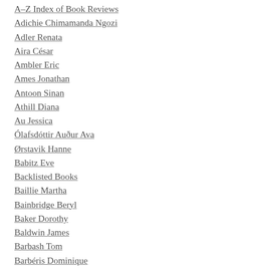A–Z Index of Book Reviews
Adichie Chimamanda Ngozi
Adler Renata
Aira César
Ambler Eric
Ames Jonathan
Antoon Sinan
Athill Diana
Au Jessica
Ólafsdóttir Auður Ava
Ørstavik Hanne
Babitz Eve
Backlisted Books
Baillie Martha
Bainbridge Beryl
Baker Dorothy
Baldwin James
Barbash Tom
Barbéris Dominique